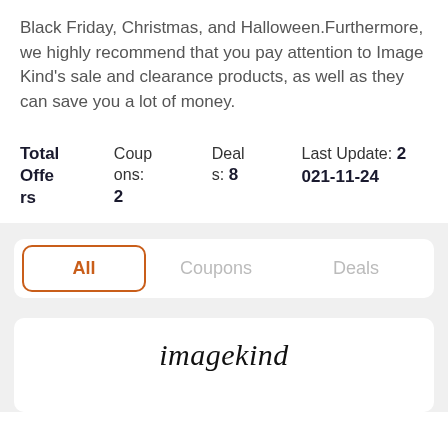Black Friday, Christmas, and Halloween. Furthermore, we highly recommend that you pay attention to Image Kind's sale and clearance products, as well as they can save you a lot of money.
| Total Offers | Coupons: | Deals: | Last Update: |
| --- | --- | --- | --- |
|  | 2 | 8 | 2021-11-24 |
All | Coupons | Deals
[Figure (screenshot): imagekind logo in italic script font]